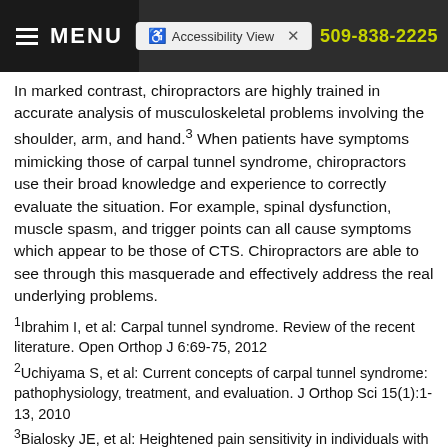MENU  |  Accessibility View  |  509-838-2225
In marked contrast, chiropractors are highly trained in accurate analysis of musculoskeletal problems involving the shoulder, arm, and hand.³ When patients have symptoms mimicking those of carpal tunnel syndrome, chiropractors use their broad knowledge and experience to correctly evaluate the situation. For example, spinal dysfunction, muscle spasm, and trigger points can all cause symptoms which appear to be those of CTS. Chiropractors are able to see through this masquerade and effectively address the real underlying problems.
¹Ibrahim I, et al: Carpal tunnel syndrome. Review of the recent literature. Open Orthop J 6:69-75, 2012
²Uchiyama S, et al: Current concepts of carpal tunnel syndrome: pathophysiology, treatment, and evaluation. J Orthop Sci 15(1):1-13, 2010
³Bialosky JE, et al: Heightened pain sensitivity in individuals with signs and symptoms of carpal tunnel syndrome and the relationship to clinical outcomes following a manual therapy intervention. Man Ther 16(2):299-305, 2011